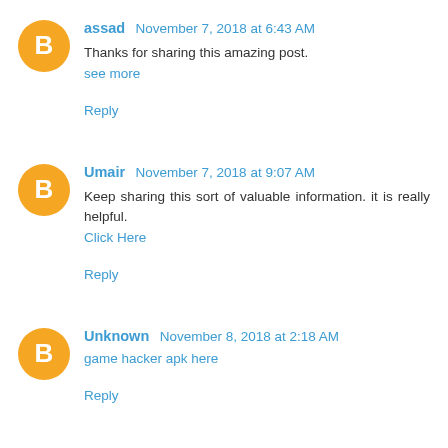assad November 7, 2018 at 6:43 AM
Thanks for sharing this amazing post.
see more
Reply
Umair November 7, 2018 at 9:07 AM
Keep sharing this sort of valuable information. it is really helpful.
Click Here
Reply
Unknown November 8, 2018 at 2:18 AM
game hacker apk here
Reply
johnroy November 9, 2018 at 10:05 PM